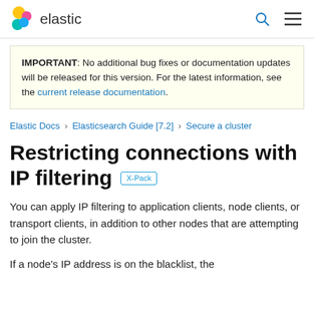elastic
IMPORTANT: No additional bug fixes or documentation updates will be released for this version. For the latest information, see the current release documentation.
Elastic Docs › Elasticsearch Guide [7.2] › Secure a cluster
Restricting connections with IP filtering [X-Pack]
You can apply IP filtering to application clients, node clients, or transport clients, in addition to other nodes that are attempting to join the cluster.
If a node's IP address is on the blacklist, the